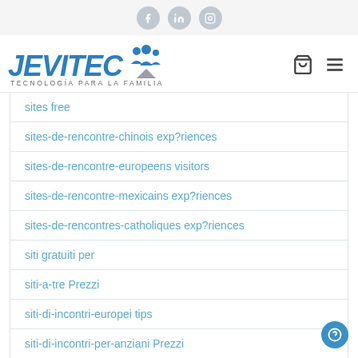JEVITEC — TECNOLOGÍA PARA LA FAMILIA
sites free
sites-de-rencontre-chinois exp?riences
sites-de-rencontre-europeens visitors
sites-de-rencontre-mexicains exp?riences
sites-de-rencontres-catholiques exp?riences
siti gratuiti per
siti-a-tre Prezzi
siti-di-incontri-europei tips
siti-di-incontri-per-anziani Prezzi